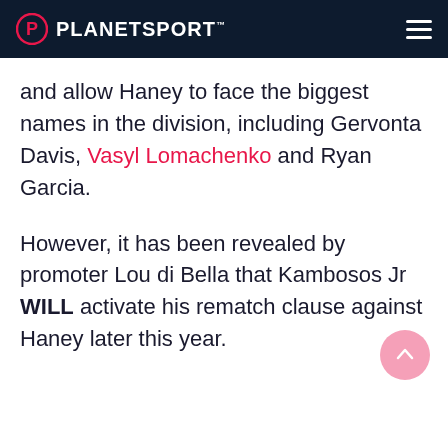PLANETSPORT
and allow Haney to face the biggest names in the division, including Gervonta Davis, Vasyl Lomachenko and Ryan Garcia.
However, it has been revealed by promoter Lou di Bella that Kambosos Jr WILL activate his rematch clause against Haney later this year.